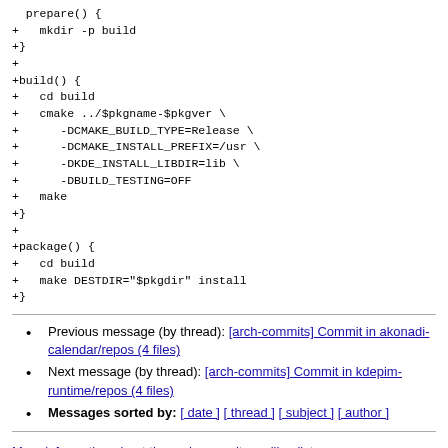prepare() {
+   mkdir -p build
+}
+
+build() {
+   cd build
+   cmake ../$pkgname-$pkgver \
+      -DCMAKE_BUILD_TYPE=Release \
+      -DCMAKE_INSTALL_PREFIX=/usr \
+      -DKDE_INSTALL_LIBDIR=lib \
+      -DBUILD_TESTING=OFF
+   make
+}
+
+package() {
+   cd build
+   make DESTDIR="$pkgdir" install
+}
Previous message (by thread): [arch-commits] Commit in akonadi-calendar/repos (4 files)
Next message (by thread): [arch-commits] Commit in kdepim-runtime/repos (4 files)
Messages sorted by: [ date ] [ thread ] [ subject ] [ author ]
More information about the arch-commits mailing list